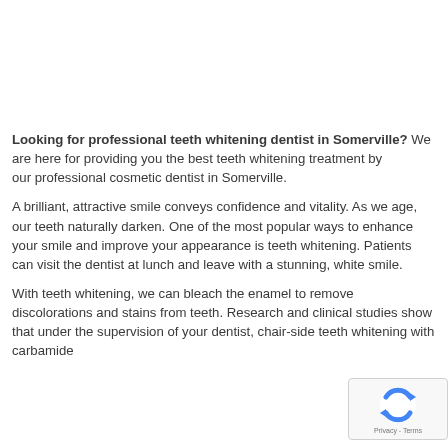Looking for professional teeth whitening dentist in Somerville? We are here for providing you the best teeth whitening treatment by our professional cosmetic dentist in Somerville.
A brilliant, attractive smile conveys confidence and vitality. As we age, our teeth naturally darken. One of the most popular ways to enhance your smile and improve your appearance is teeth whitening. Patients can visit the dentist at lunch and leave with a stunning, white smile.
With teeth whitening, we can bleach the enamel to remove discolorations and stains from teeth. Research and clinical studies show that under the supervision of your dentist, chair-side teeth whitening with carbamide